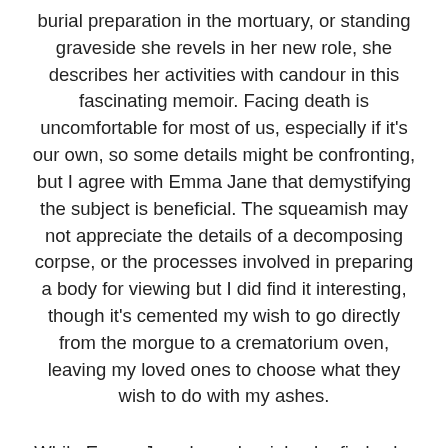burial preparation in the mortuary, or standing graveside she revels in her new role, she describes her activities with candour in this fascinating memoir. Facing death is uncomfortable for most of us, especially if it's our own, so some details might be confronting, but I agree with Emma Jane that demystifying the subject is beneficial. The squeamish may not appreciate the details of a decomposing corpse, or the processes involved in preparing a body for viewing but I did find it interesting, though it's cemented my wish to go directly from the morgue to a crematorium oven, leaving my loved ones to choose what they wish to do with my ashes.
While Emma Jane loves her job, she finds she is struggling to pay her bills, and to supplement her income, answers an ad for an agency that supplies scantily clad/topless waitresses. In the second half of the book